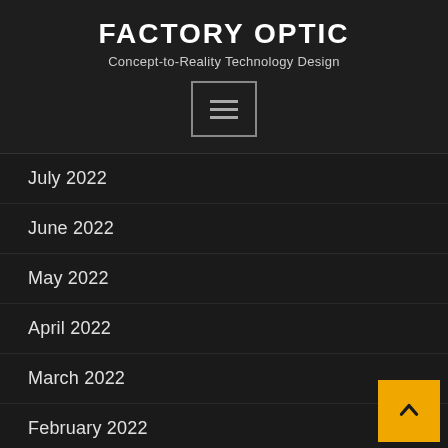FACTORY OPTIC
Concept-to-Reality Technology Design
[Figure (other): Hamburger menu button icon (three horizontal lines inside a bordered rectangle)]
July 2022
June 2022
May 2022
April 2022
March 2022
February 2022
January 2022